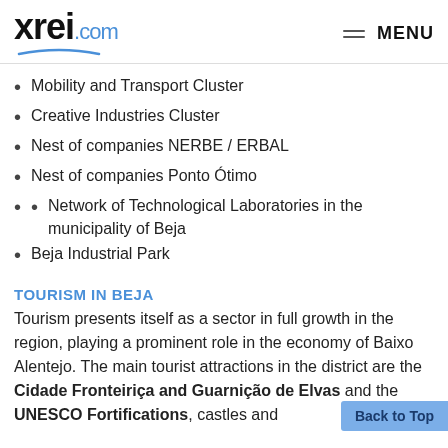xrei.com MENU
Mobility and Transport Cluster
Creative Industries Cluster
Nest of companies NERBE / ERBAL
Nest of companies Ponto Ótimo
Network of Technological Laboratories in the municipality of Beja
Beja Industrial Park
TOURISM IN BEJA
Tourism presents itself as a sector in full growth in the region, playing a prominent role in the economy of Baixo Alentejo. The main tourist attractions in the district are the Cidade Fronteiriça and Guarnição de Elvas and the UNESCO Fortifications, castles and